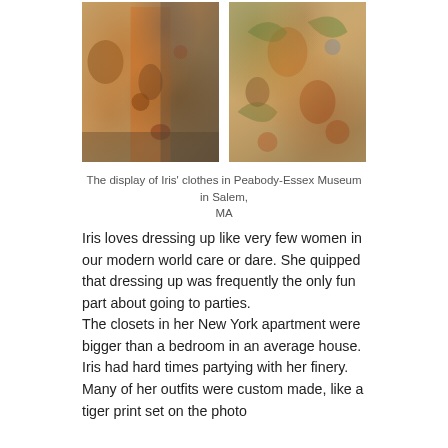[Figure (photo): Two side-by-side photos of ornate floral embroidered coats displayed in a museum setting. Left photo shows a full-length view of a floral tapestry coat over an orange dress on a mannequin. Right photo shows a close-up detail of the same or similar floral embroidered fabric.]
The display of Iris' clothes in Peabody-Essex Museum in Salem, MA
Iris loves dressing up like very few women in our modern world care or dare. She quipped that dressing up was frequently the only fun part about going to parties.
The closets in her New York apartment were bigger than a bedroom in an average house. Iris had hard times partying with her finery. Many of her outfits were custom made, like a tiger print set on the photo